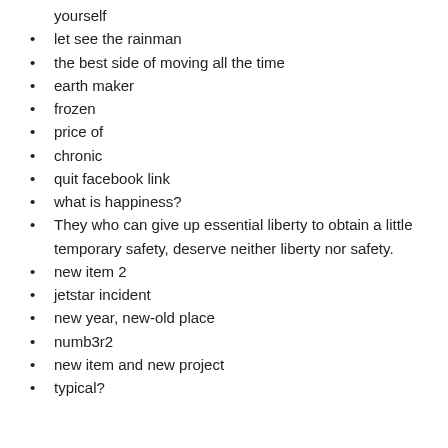yourself
let see the rainman
the best side of moving all the time
earth maker
frozen
price of
chronic
quit facebook link
what is happiness?
They who can give up essential liberty to obtain a little temporary safety, deserve neither liberty nor safety.
new item 2
jetstar incident
new year, new-old place
numb3r2
new item and new project
typical?